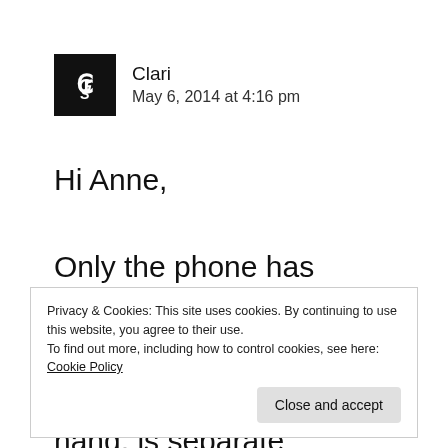[Figure (logo): Black square logo with stylized letter G and S in white]
Clari
May 6, 2014 at 4:16 pm
Hi Anne,

Only the phone has consumable call and text as well as Internet surfing. The billing, on the other hand, is separate
Privacy & Cookies: This site uses cookies. By continuing to use this website, you agree to their use.
To find out more, including how to control cookies, see here: Cookie Policy

Close and accept